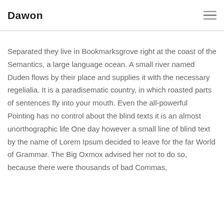Dawon
Separated they live in Bookmarksgrove right at the coast of the Semantics, a large language ocean. A small river named Duden flows by their place and supplies it with the necessary regelialia. It is a paradisematic country, in which roasted parts of sentences fly into your mouth. Even the all-powerful Pointing has no control about the blind texts it is an almost unorthographic life One day however a small line of blind text by the name of Lorem Ipsum decided to leave for the far World of Grammar. The Big Oxmox advised her not to do so, because there were thousands of bad Commas,